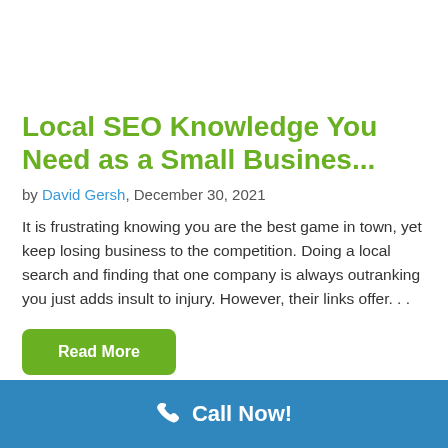Local SEO Knowledge You Need as a Small Busines...
by David Gersh, December 30, 2021
It is frustrating knowing you are the best game in town, yet keep losing business to the competition. Doing a local search and finding that one company is always outranking you just adds insult to injury. However, their links offer...
Read More
Call Now!